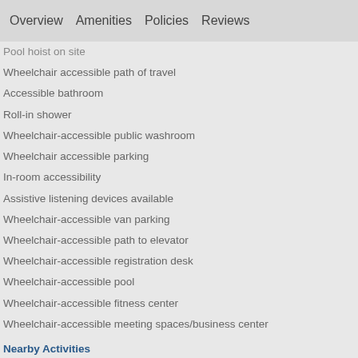Overview   Amenities   Policies   Reviews
Pool hoist on site
Wheelchair accessible path of travel
Accessible bathroom
Roll-in shower
Wheelchair-accessible public washroom
Wheelchair accessible parking
In-room accessibility
Assistive listening devices available
Wheelchair-accessible van parking
Wheelchair-accessible path to elevator
Wheelchair-accessible registration desk
Wheelchair-accessible pool
Wheelchair-accessible fitness center
Wheelchair-accessible meeting spaces/business center
Nearby Activities
Recreational amenities at the hotel include an indoor pool and a fitness